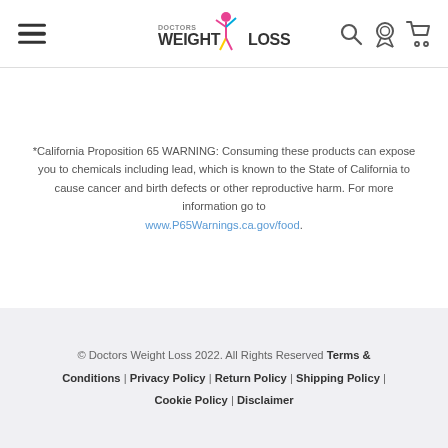[Figure (logo): Doctors Weight Loss logo with colorful figure graphic]
*California Proposition 65 WARNING: Consuming these products can expose you to chemicals including lead, which is known to the State of California to cause cancer and birth defects or other reproductive harm. For more information go to www.P65Warnings.ca.gov/food.
© Doctors Weight Loss 2022. All Rights Reserved Terms & Conditions | Privacy Policy | Return Policy | Shipping Policy | Cookie Policy | Disclaimer